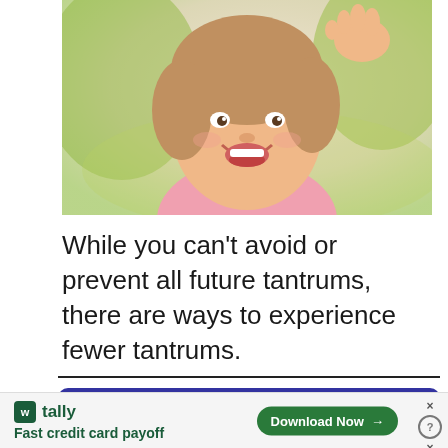[Figure (photo): Close-up photo of a smiling young toddler girl with light brown hair, waving her hand, outdoors with blurred green foliage background]
While you can’t avoid or prevent all future tantrums, there are ways to experience fewer tantrums.
[Figure (infographic): Advertisement banner with dark blue/purple background and bold white text reading 'Avoid The Tantrum']
[Figure (infographic): Bottom advertisement bar: Tally app promotion - 'Fast credit card payoff' with green Download Now button and close/help icons]